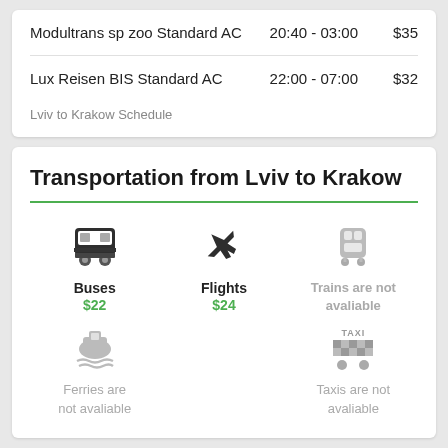| Service | Time | Price |
| --- | --- | --- |
| Modultrans sp zoo Standard AC | 20:40 - 03:00 | $35 |
| Lux Reisen BIS Standard AC | 22:00 - 07:00 | $32 |
Lviv to Krakow Schedule
Transportation from Lviv to Krakow
[Figure (infographic): Transportation options grid showing Buses ($22), Flights ($24), Trains are not avaliable, Ferries are not avaliable, Taxis are not avaliable]
Buses $22
Flights $24
Trains are not avaliable
Ferries are not avaliable
Taxis are not avaliable